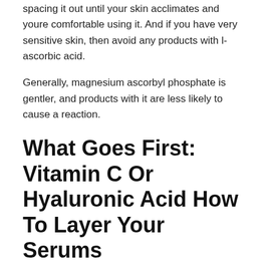spacing it out until your skin acclimates and youre comfortable using it. And if you have very sensitive skin, then avoid any products with l-ascorbic acid.
Generally, magnesium ascorbyl phosphate is gentler, and products with it are less likely to cause a reaction.
What Goes First: Vitamin C Or Hyaluronic Acid How To Layer Your Serums
Of all the buzzy skin care ingredients out there, vitamin C and hyaluronic acid may be two of the most decorated players. Both can benefit all skin types, which makes them sound investments for any beauty routine. Plus, vitamin C and hyaluronic acid make a great pair: The former evens out